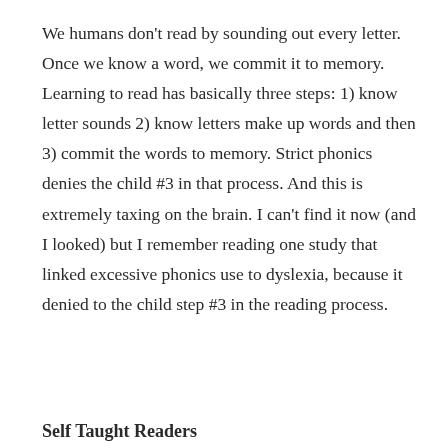We humans don't read by sounding out every letter. Once we know a word, we commit it to memory. Learning to read has basically three steps: 1) know letter sounds 2) know letters make up words and then 3) commit the words to memory. Strict phonics denies the child #3 in that process. And this is extremely taxing on the brain. I can't find it now (and I looked) but I remember reading one study that linked excessive phonics use to dyslexia, because it denied to the child step #3 in the reading process.
Self Taught Readers